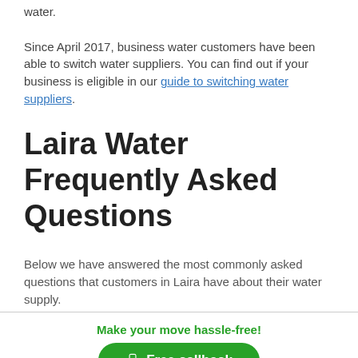water.
Since April 2017, business water customers have been able to switch water suppliers. You can find out if your business is eligible in our guide to switching water suppliers.
Laira Water Frequently Asked Questions
Below we have answered the most commonly asked questions that customers in Laira have about their water supply.
Make your move hassle-free!
Free callback